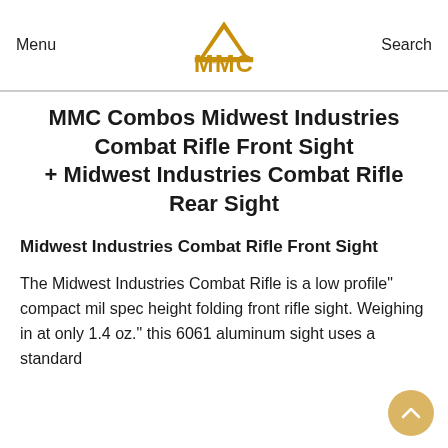Menu  MMC ARMORY  Search
MMC Combos Midwest Industries Combat Rifle Front Sight + Midwest Industries Combat Rifle Rear Sight
Midwest Industries Combat Rifle Front Sight
The Midwest Industries Combat Rifle is a low profile" compact mil spec height folding front rifle sight. Weighing in at only 1.4 oz." this 6061 aluminum sight uses a standard